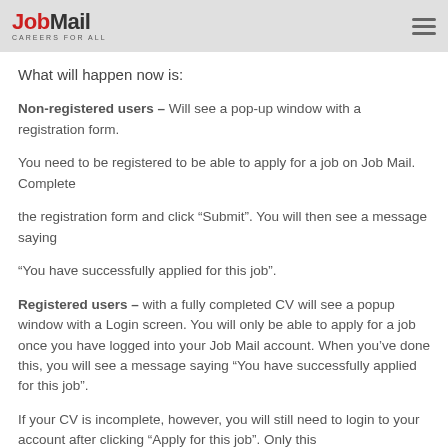JobMail CAREERS FOR ALL
What will happen now is:
Non-registered users – Will see a pop-up window with a registration form. You need to be registered to be able to apply for a job on Job Mail.  Complete the registration form and click “Submit”. You will then see a message saying “You have successfully applied for this job”.
Registered users – with a fully completed CV will see a popup window with a Login screen. You will only be able to apply for a job once you have logged into your Job Mail account. When you’ve done this, you will see a message saying “You have successfully applied for this job”.
If your CV is incomplete, however, you will still need to login to your account after clicking “Apply for this job”. Only this